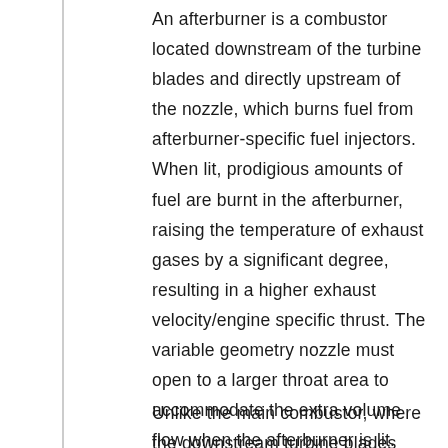An afterburner is a combustor located downstream of the turbine blades and directly upstream of the nozzle, which burns fuel from afterburner-specific fuel injectors. When lit, prodigious amounts of fuel are burnt in the afterburner, raising the temperature of exhaust gases by a significant degree, resulting in a higher exhaust velocity/engine specific thrust. The variable geometry nozzle must open to a larger throat area to accommodate the extra volume flow when the afterburner is lit. Afterburning is often designed to give a significant thrust boost for take off, transonic acceleration and combat maneuvers, but is very fuel intensive. Consequently afterburning can only be used for short portions of a mission.
Unlike the main combustor, where the downstream turbine blades must not be damaged by high